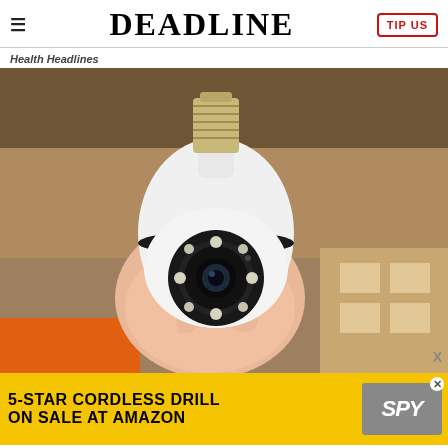DEADLINE | TIP US
Health Headlines
[Figure (photo): A hand holding a light bulb-shaped security camera with LED ring and camera lens in the center, shown against a cardboard box background]
[Figure (other): Advertisement banner: 5-STAR CORDLESS DRILL ON SALE AT AMAZON with SPY logo on yellow background]